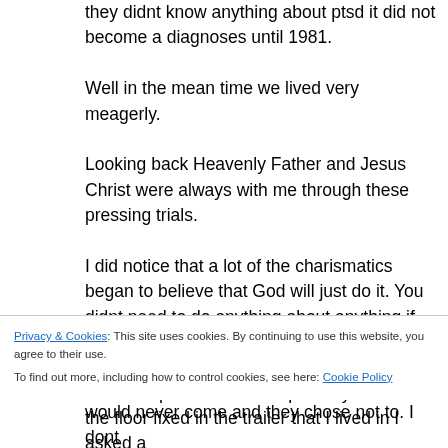they didnt know anything about ptsd it did not become a diagnoses until 1981. Well in the mean time we lived very meagerly. Looking back Heavenly Father and Jesus Christ were always with me through these pressing trials. I did notice that a lot of the charismatics began to believe that God will just do it. You didnt need to do anything about anything if you will. For example I needed desperately to have the floor fixed in the trailer that I lived in I asked a
Privacy & Cookies: This site uses cookies. By continuing to use this website, you agree to their use. To find out more, including how to control cookies, see here: Cookie Policy
would never come and they chose not to. I dont